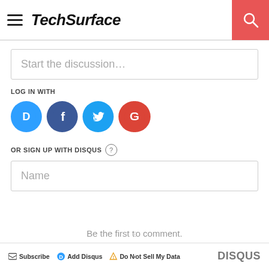TechSurface
Start the discussion…
LOG IN WITH
[Figure (other): Social login icons: Disqus (blue circle with D), Facebook (dark blue circle with f), Twitter (light blue circle with bird), Google (red circle with G)]
OR SIGN UP WITH DISQUS ?
Name
Be the first to comment.
Subscribe   Add Disqus   Do Not Sell My Data   DISQUS